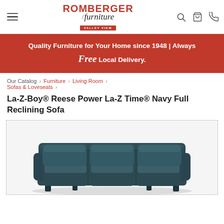Romberger Furniture Valley View – navigation header with hamburger menu, logo, search, cart, and phone icons
Quality Furniture for Your Home since 1948 | Always Free Local Delivery.
Our Catalog › Furniture › Living Room › Sofas & Loveseats ›
La-Z-Boy® Reese Power La-Z Time® Navy Full Reclining Sofa
[Figure (photo): Product photo of a navy blue La-Z-Boy Reese Power Full Reclining Sofa with three seats, dark fabric upholstery, partially visible at bottom of page]